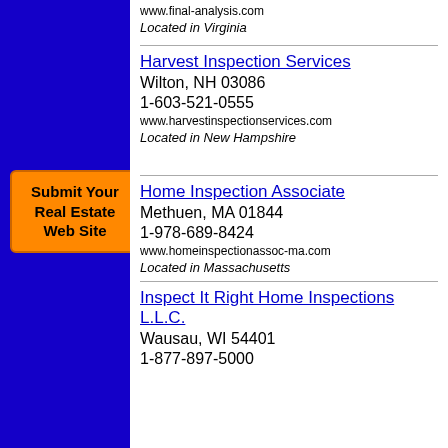[Figure (other): Blue left sidebar with orange 'Submit Your Real Estate Web Site' button]
www.final-analysis.com
Located in Virginia
Harvest Inspection Services
Wilton, NH 03086
1-603-521-0555
www.harvestinspectionservices.com
Located in New Hampshire
Home Inspection Associate
Methuen, MA 01844
1-978-689-8424
www.homeinspectionassoc-ma.com
Located in Massachusetts
Inspect It Right Home Inspections L.L.C.
Wausau, WI 54401
1-877-897-5000